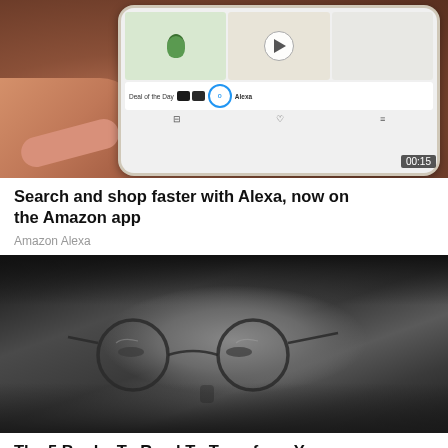[Figure (photo): A hand holding a smartphone showing the Amazon app with product thumbnails, a video play button, Deal of the Day section, Alexa icon, and camera accessories. A timestamp of 00:15 is visible in the bottom right corner.]
Search and shop faster with Alexa, now on the Amazon app
Amazon Alexa
[Figure (photo): A close-up black and white photograph of a young man with long dark hair wearing round wire-frame glasses, looking slightly upward.]
The 5 Books To Read To Transform Your